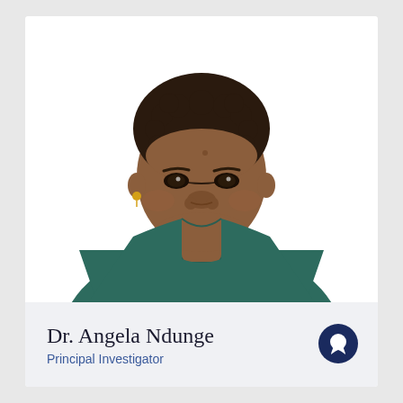[Figure (photo): Professional headshot portrait of Dr. Angela Ndunge, a woman wearing a dark teal/green blazer and top, with short natural hair, against a white background.]
Dr. Angela Ndunge
Principal Investigator